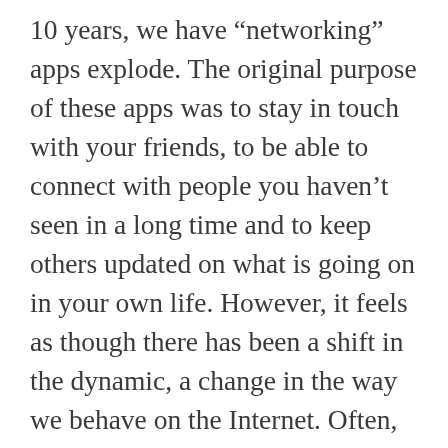10 years, we have “networking” apps explode. The original purpose of these apps was to stay in touch with your friends, to be able to connect with people you haven’t seen in a long time and to keep others updated on what is going on in your own life. However, it feels as though there has been a shift in the dynamic, a change in the way we behave on the Internet. Often, all we see is the picture. We believe that everybody’s lives are perfect and full of happiness based on how they display themselves on social media. Getting the “perfect picture” and pairing it with a “fire” caption that will get you over 300 likes is often a goal of most people. I know I am not innocent. There have been multiple occasions where I